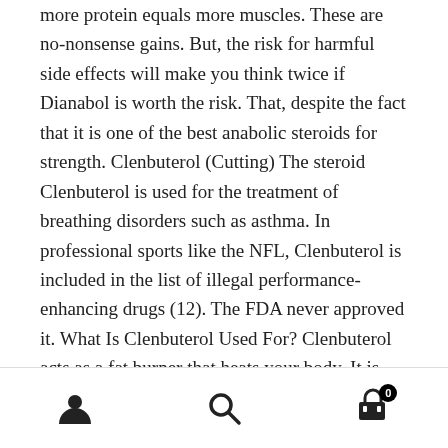more protein equals more muscles. These are no-nonsense gains. But, the risk for harmful side effects will make you think twice if Dianabol is worth the risk. That, despite the fact that it is one of the best anabolic steroids for strength. Clenbuterol (Cutting) The steroid Clenbuterol is used for the treatment of breathing disorders such as asthma. In professional sports like the NFL, Clenbuterol is included in the list of illegal performance-enhancing drugs (12). The FDA never approved it. What Is Clenbuterol Used For? Clenbuterol acts as a fat burner that heats your body. It is one of the best steroids for cutting fat (13, 14, 15). It is also ideal for lean muscle retention, and for improving endurance and energy. Clenbuterol targets the sympathomimetic nervous system, which has several parts. The steroid
user icon | search icon | cart icon (0)